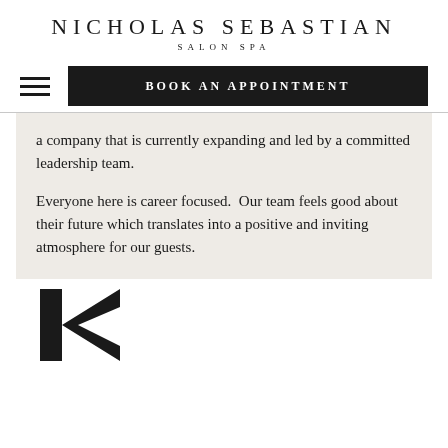NICHOLAS SEBASTIAN
SALON SPA
[Figure (screenshot): Navigation bar with hamburger menu icon on left and black 'BOOK AN APPOINTMENT' button on right]
a company that is currently expanding and led by a committed leadership team.
Everyone here is career focused.  Our team feels good about their future which translates into a positive and inviting atmosphere for our guests.
[Figure (logo): Partial black letter K logo visible at bottom of page]